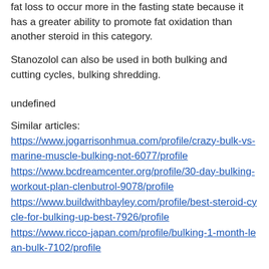fat loss to occur more in the fasting state because it has a greater ability to promote fat oxidation than another steroid in this category.
Stanozolol can also be used in both bulking and cutting cycles, bulking shredding.
undefined
Similar articles:
https://www.jogarrisonhmua.com/profile/crazy-bulk-vs-marine-muscle-bulking-not-6077/profile https://www.bcdreamcenter.org/profile/30-day-bulking-workout-plan-clenbutrol-9078/profile https://www.buildwithbayley.com/profile/best-steroid-cycle-for-bulking-up-best-7926/profile https://www.ricco-japan.com/profile/bulking-1-month-lean-bulk-7102/profile